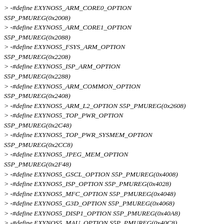> -#define EXYNOS5_ARM_CORE0_OPTION S5P_PMUREG(0x2008)
> -#define EXYNOS5_ARM_CORE1_OPTION S5P_PMUREG(0x2088)
> -#define EXYNOS5_FSYS_ARM_OPTION S5P_PMUREG(0x2208)
> -#define EXYNOS5_ISP_ARM_OPTION S5P_PMUREG(0x2288)
> -#define EXYNOS5_ARM_COMMON_OPTION S5P_PMUREG(0x2408)
> -#define EXYNOS5_ARM_L2_OPTION S5P_PMUREG(0x2608)
> -#define EXYNOS5_TOP_PWR_OPTION S5P_PMUREG(0x2C48)
> -#define EXYNOS5_TOP_PWR_SYSMEM_OPTION S5P_PMUREG(0x2CC8)
> -#define EXYNOS5_JPEG_MEM_OPTION S5P_PMUREG(0x2F48)
> -#define EXYNOS5_GSCL_OPTION S5P_PMUREG(0x4008)
> -#define EXYNOS5_ISP_OPTION S5P_PMUREG(0x4028)
> -#define EXYNOS5_MFC_OPTION S5P_PMUREG(0x4048)
> -#define EXYNOS5_G3D_OPTION S5P_PMUREG(0x4068)
> -#define EXYNOS5_DISP1_OPTION S5P_PMUREG(0x40A8)
> -#define EXYNOS5_MAU_OPTION S5P_PMUREG(0x40C8)
> +#define EXYNOS5_ARM_CORE0_SYS_PWR_REG 0x1000
> +#define